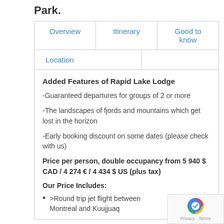Park.
| Overview | Itinerary | Good to know | Location |
| --- | --- | --- | --- |
Added Features of Rapid Lake Lodge
-Guaranteed departures for groups of 2 or more
-The landscapes of fjords and mountains which get lost in the horizon
-Early booking discount on some dates (please check with us)
Price per person, double occupancy from 5 940 $ CAD / 4 274 € / 4 434 $ US (plus tax)
Our Price Includes:
>Round trip jet flight between Montreal and Kuujjuaq